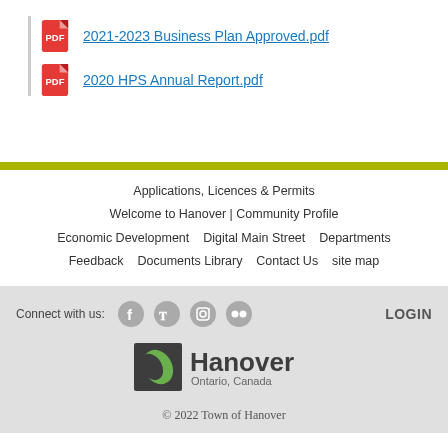2021-2023 Business Plan Approved.pdf
2020 HPS Annual Report.pdf
Applications, Licences & Permits
Welcome to Hanover | Community Profile
Economic Development  Digital Main Street  Departments
Feedback  Documents Library  Contact Us  site map
Connect with us:  [Facebook] [Twitter] [Instagram] [Flickr]  LOGIN
© 2022 Town of Hanover